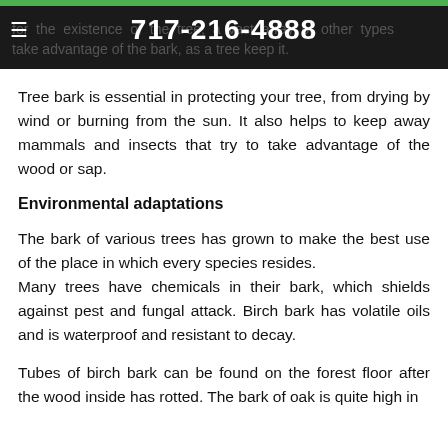for the existence of the tree, a vast array of other types take advantage of the bark, as a tree keep it. 717-216-4888
Tree bark is essential in protecting your tree, from drying by wind or burning from the sun. It also helps to keep away mammals and insects that try to take advantage of the wood or sap.
Environmental adaptations
The bark of various trees has grown to make the best use of the place in which every species resides.
Many trees have chemicals in their bark, which shields against pest and fungal attack. Birch bark has volatile oils and is waterproof and resistant to decay.
Tubes of birch bark can be found on the forest floor after the wood inside has rotted. The bark of oak is quite high in